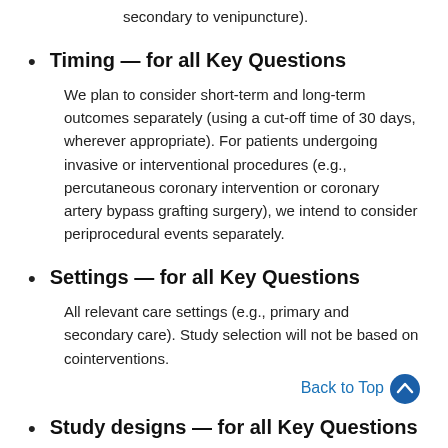secondary to venipuncture).
Timing — for all Key Questions

We plan to consider short-term and long-term outcomes separately (using a cut-off time of 30 days, wherever appropriate). For patients undergoing invasive or interventional procedures (e.g., percutaneous coronary intervention or coronary artery bypass grafting surgery), we intend to consider periprocedural events separately.
Settings — for all Key Questions

All relevant care settings (e.g., primary and secondary care). Study selection will not be based on cointerventions.
Study designs — for all Key Questions